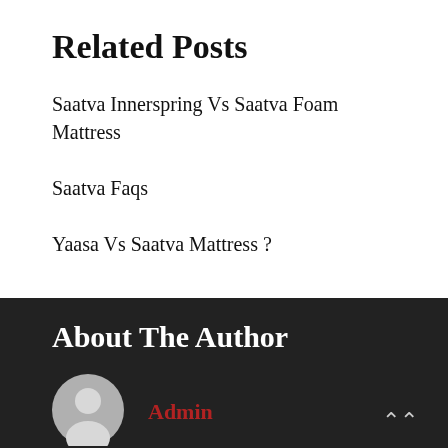Related Posts
Saatva Innerspring Vs Saatva Foam Mattress
Saatva Faqs
Yaasa Vs Saatva Mattress ?
About The Author
Admin